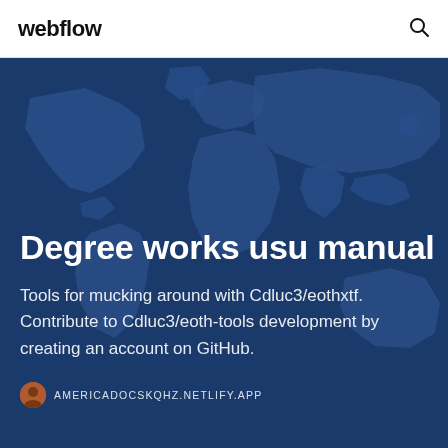webflow
Degree works usu manual
Tools for mucking around with Cdluc3/eothxtf. Contribute to Cdluc3/eoth-tools development by creating an account on GitHub.
AMERICADOCSKQHZ.NETLIFY.APP